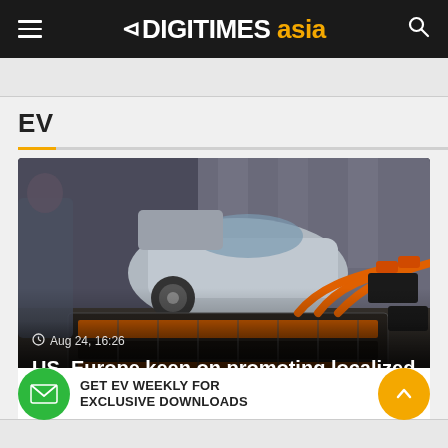DIGITIMES asia
EV
[Figure (photo): EV battery pack displayed at an exhibition with orange cables/connectors, electric vehicle in background with open hood, people standing around]
Aug 24, 16:26 – US, Europe keen on promoting localized EV battery m…
GET EV WEEKLY FOR EXCLUSIVE DOWNLOADS